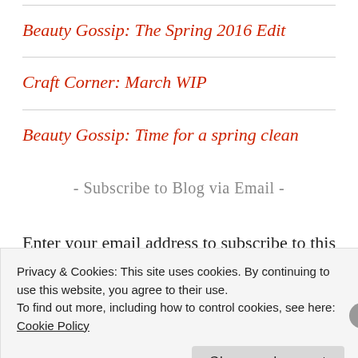Beauty Gossip: The Spring 2016 Edit
Craft Corner: March WIP
Beauty Gossip: Time for a spring clean
- Subscribe to Blog via Email -
Enter your email address to subscribe to this blog and receive notifications of new posts by email.
Privacy & Cookies: This site uses cookies. By continuing to use this website, you agree to their use.
To find out more, including how to control cookies, see here: Cookie Policy
Close and accept